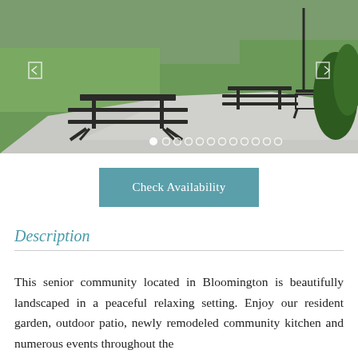[Figure (photo): Outdoor area of a senior community showing metal picnic tables on a concrete patio with green lawns and trees in the background. Carousel navigation dots visible at the bottom.]
Check Availability
Description
This senior community located in Bloomington is beautifully landscaped in a peaceful relaxing setting. Enjoy our resident garden, outdoor patio, newly remodeled community kitchen and numerous events throughout the